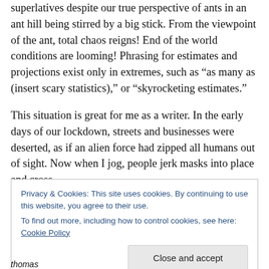superlatives despite our true perspective of ants in an ant hill being stirred by a big stick. From the viewpoint of the ant, total chaos reigns! End of the world conditions are looming! Phrasing for estimates and projections exist only in extremes, such as “as many as (insert scary statistics),” or “skyrocketing estimates.”
This situation is great for me as a writer. In the early days of our lockdown, streets and businesses were deserted, as if an alien force had zipped all humans out of sight. Now when I jog, people jerk masks into place and cross
Privacy & Cookies: This site uses cookies. By continuing to use this website, you agree to their use.
To find out more, including how to control cookies, see here: Cookie Policy
thomas